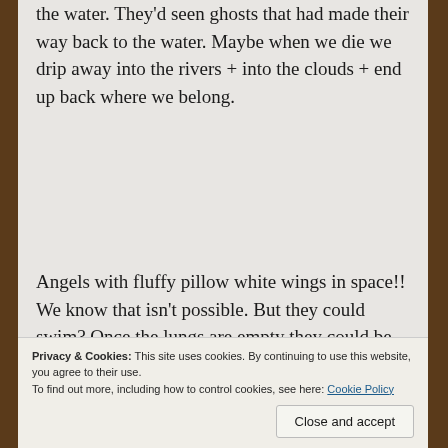the water. They'd seen ghosts that had made their way back to the water. Maybe when we die we drip away into the rivers + into the clouds + end up back where we belong.
Angels with fluffy pillow white wings in space!! We know that isn't possible. But they could swim? Once the lungs are empty they could be graceful swimmers. Weightless + lithe. Rivers are the hands that carry us out there + til then we sit at the
Privacy & Cookies: This site uses cookies. By continuing to use this website, you agree to their use.
To find out more, including how to control cookies, see here: Cookie Policy
Close and accept